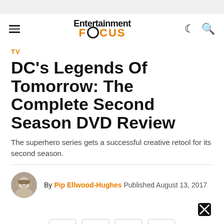Entertainment Focus
TV
DC's Legends Of Tomorrow: The Complete Second Season DVD Review
The superhero series gets a successful creative retool for its second season.
By Pip Ellwood-Hughes Published August 13, 2017